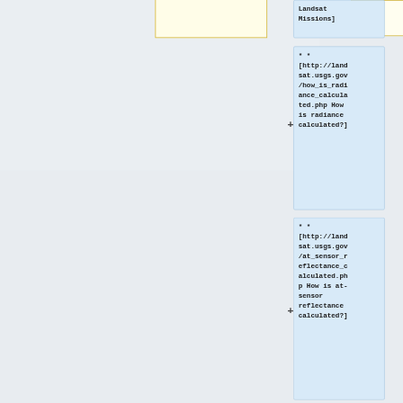[Figure (other): Partial yellow-bordered box (top, cropped), part of a flowchart or wiki-style page structure]
Landsat Missions]
** [http://landsat.usgs.gov/how_is_radiance_calculated.php How is radiance calculated?]
** [http://landsat.usgs.gov/at_sensor_reflectance_calculated.php How is at-sensor reflectance calculated?]